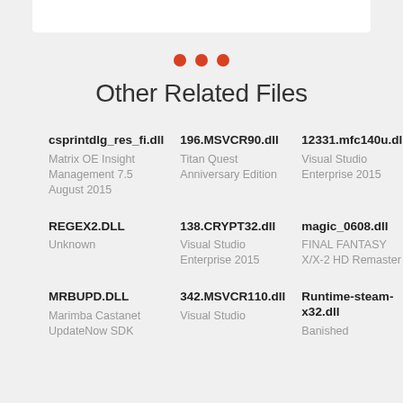[Figure (other): White bar at top representing a UI element or previous section]
[Figure (other): Three red dots decoration]
Other Related Files
csprintdlg_res_fi.dll — Matrix OE Insight Management 7.5 August 2015
196.MSVCR90.dll — Titan Quest Anniversary Edition
12331.mfc140u.dll — Visual Studio Enterprise 2015
REGEX2.DLL — Unknown
138.CRYPT32.dll — Visual Studio Enterprise 2015
magic_0608.dll — FINAL FANTASY X/X-2 HD Remaster
MRBUPD.DLL — Marimba Castanet UpdateNow SDK
342.MSVCR110.dll — Visual Studio
Runtime-steam-x32.dll — Banished